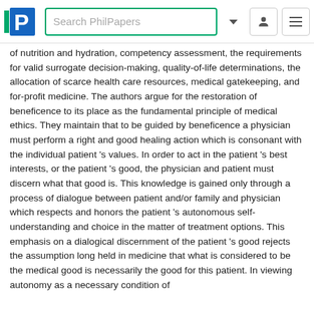Search PhilPapers
of nutrition and hydration, competency assessment, the requirements for valid surrogate decision-making, quality-of-life determinations, the allocation of scarce health care resources, medical gatekeeping, and for-profit medicine. The authors argue for the restoration of beneficence to its place as the fundamental principle of medical ethics. They maintain that to be guided by beneficence a physician must perform a right and good healing action which is consonant with the individual patient 's values. In order to act in the patient 's best interests, or the patient 's good, the physician and patient must discern what that good is. This knowledge is gained only through a process of dialogue between patient and/or family and physician which respects and honors the patient 's autonomous self-understanding and choice in the matter of treatment options. This emphasis on a dialogical discernment of the patient 's good rejects the assumption long held in medicine that what is considered to be the medical good is necessarily the good for this patient. In viewing autonomy as a necessary condition of